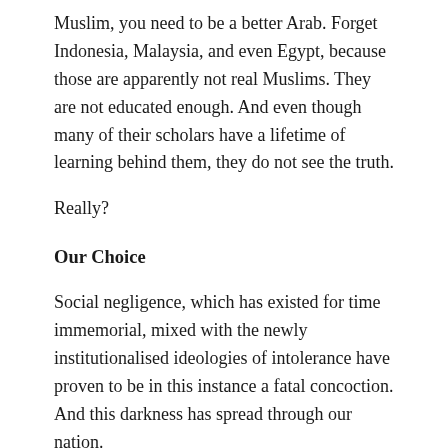Muslim, you need to be a better Arab. Forget Indonesia, Malaysia, and even Egypt, because those are apparently not real Muslims. They are not educated enough. And even though many of their scholars have a lifetime of learning behind them, they do not see the truth.
Really?
Our Choice
Social negligence, which has existed for time immemorial, mixed with the newly institutionalised ideologies of intolerance have proven to be in this instance a fatal concoction. And this darkness has spread through our nation.
We all have a choice to make. We either chose to stand in the light, or to recede further into darkness.